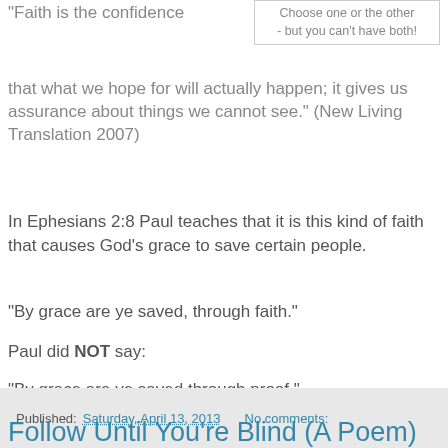"Faith is the confidence
Choose one or the other - but you can't have both!
that what we hope for will actually happen; it gives us assurance about things we cannot see." (New Living Translation 2007)
In Ephesians 2:8 Paul teaches that it is this kind of faith that causes God's grace to save certain people.
"By grace are ye saved, through faith."
Paul did NOT say:
"By grace are ye saved through proof."
Published: Saturday, April 13, 2013   No comments:
Follow Until You're Blind (A Poem)